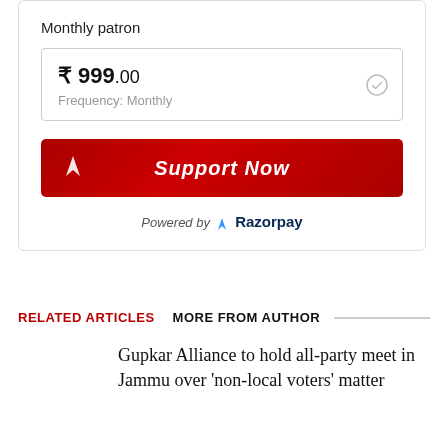Monthly patron
₹ 999.00
Frequency: Monthly
[Figure (screenshot): Support Now button with Razorpay logo in dark red]
Powered by Razorpay
RELATED ARTICLES   MORE FROM AUTHOR
Gupkar Alliance to hold all-party meet in Jammu over 'non-local voters' matter